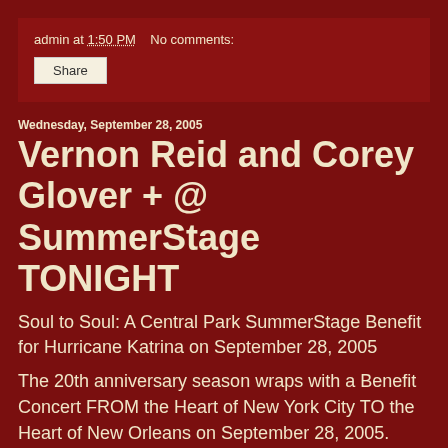admin at 1:50 PM    No comments:
Share
Wednesday, September 28, 2005
Vernon Reid and Corey Glover + @ SummerStage TONIGHT
Soul to Soul: A Central Park SummerStage Benefit for Hurricane Katrina on September 28, 2005
The 20th anniversary season wraps with a Benefit Concert FROM the Heart of New York City TO the Heart of New Orleans on September 28, 2005. Admission is free with a Suggested Donation of $25.00 - all net proceeds will donated to the New Orleans Musicians' Clinic. Doors open at 4:00, Show starts at 5:30pm. New Orleans Cuisine provided by Blue Ribbon and Jacques Imo's.
Featured Artists include... (text cut off)